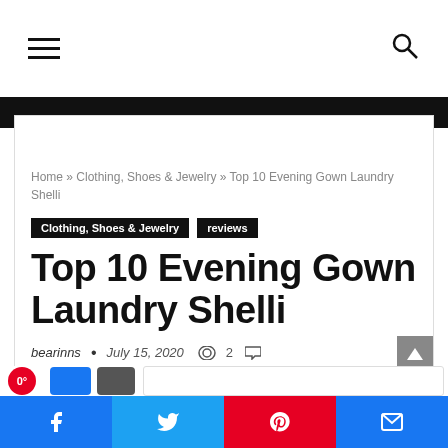Home » Clothing, Shoes & Jewelry » Top 10 Evening Gown Laundry Shelli
Clothing, Shoes & Jewelry  reviews
Top 10 Evening Gown Laundry Shelli
bearinns  •  July 15, 2020  👁 2  💬